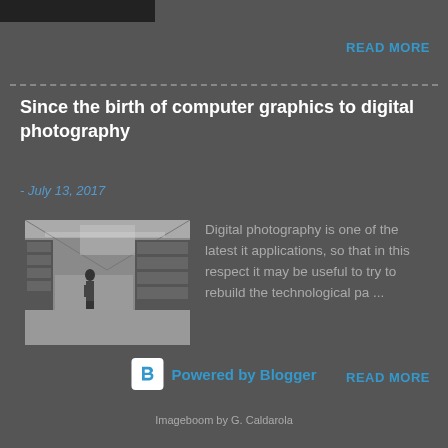[Figure (other): Black bar header element top left]
READ MORE
Since the birth of computer graphics to digital photography
- July 13, 2017
[Figure (photo): Black and white photo of a computer room with large mainframe computers and a person walking]
Digital photography is one of the latest it applications, so that in this respect it may be useful to try to rebuild the technological pa...
READ MORE
Powered by Blogger
Imageboom by G. Caldarola